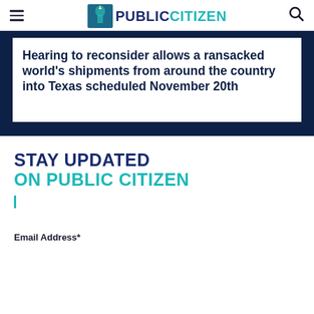Public Citizen
Hearing to reconsider allows a ransacked world's shipments from around the country into Texas scheduled November 20th
STAY UPDATED
ON PUBLIC CITIZEN
Email Address*